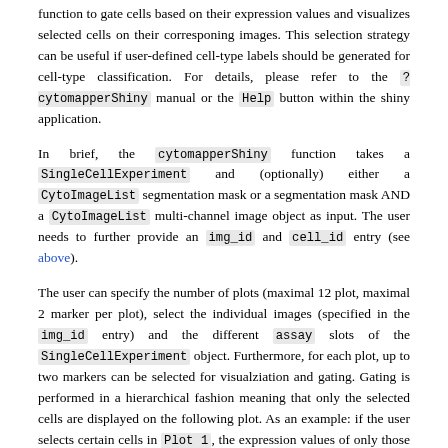function to gate cells based on their expression values and visualizes selected cells on their corresponing images. This selection strategy can be useful if user-defined cell-type labels should be generated for cell-type classification. For details, please refer to the ?cytomapperShiny manual or the Help button within the shiny application.
In brief, the cytomapperShiny function takes a SingleCellExperiment and (optionally) either a CytoImageList segmentation mask or a segmentation mask AND a CytoImageList multi-channel image object as input. The user needs to further provide an img_id and cell_id entry (see above).
The user can specify the number of plots (maximal 12 plot, maximal 2 marker per plot), select the individual images (specified in the img_id entry) and the different assay slots of the SingleCellExperiment object. Furthermore, for each plot, up to two markers can be selected for visualziation and gating. Gating is performed in a hierarchical fashion meaning that only the selected cells are displayed on the following plot. As an example: if the user selects certain cells in Plot 1, the expression values of only those cells are displayed in Plot 2 and so on. If the user selects only one marker, the expression values are displayed as violin/beeswarm plots; if two markers